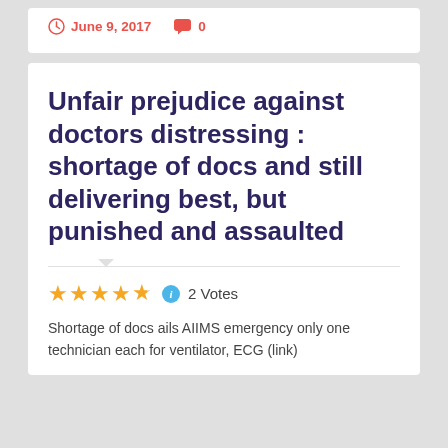June 9, 2017   0
Unfair prejudice against doctors distressing : shortage of docs and still delivering best, but punished and assaulted
★★★★½  ℹ  2 Votes
Shortage of docs ails AIIMS emergency only one technician each for ventilator, ECG (link)